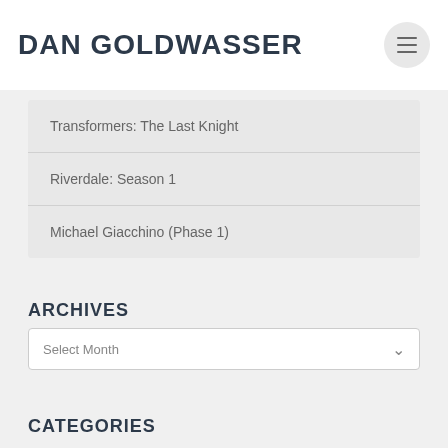DAN GOLDWASSER
Transformers: The Last Knight
Riverdale: Season 1
Michael Giacchino (Phase 1)
ARCHIVES
Select Month
CATEGORIES